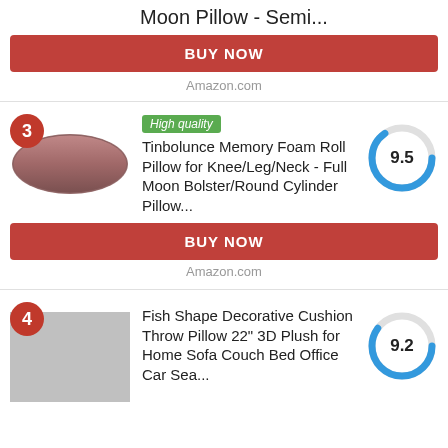Moon Pillow - Semi...
BUY NOW
Amazon.com
3
High quality
Tinbolunce Memory Foam Roll Pillow for Knee/Leg/Neck - Full Moon Bolster/Round Cylinder Pillow...
9.5
BUY NOW
Amazon.com
4
Fish Shape Decorative Cushion Throw Pillow 22" 3D Plush for Home Sofa Couch Bed Office Car Sea...
9.2